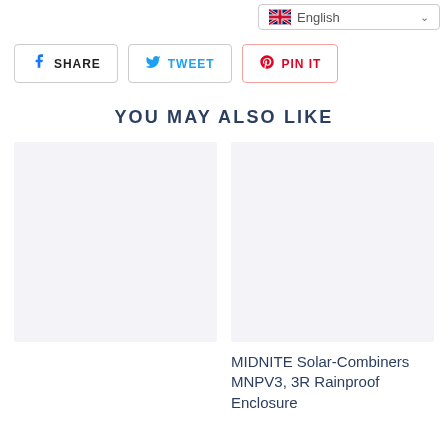[Figure (screenshot): Language selector dropdown showing English with UK flag]
SHARE   TWEET   PIN IT
YOU MAY ALSO LIKE
[Figure (photo): Product image placeholder (left card) — light gray box]
[Figure (photo): Product image placeholder (right card) — light gray box]
MIDNITE Solar-Combiners MNPV3, 3R Rainproof Enclosure